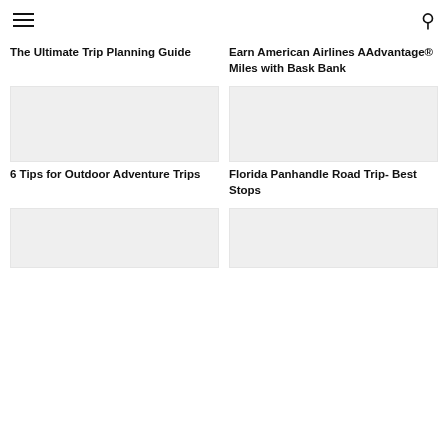≡  🔍
[Figure (photo): Partial top of photo - trip planning image (brown/wood tones)]
The Ultimate Trip Planning Guide
[Figure (photo): Partial top of photo - airline miles image (wood/gold tones)]
Earn American Airlines AAdvantage® Miles with Bask Bank
[Figure (photo): Placeholder image for outdoor adventure article]
6 Tips for Outdoor Adventure Trips
[Figure (photo): Placeholder image for Florida Panhandle article]
Florida Panhandle Road Trip- Best Stops
[Figure (photo): Placeholder image - bottom left card]
[Figure (photo): Placeholder image - bottom right card]